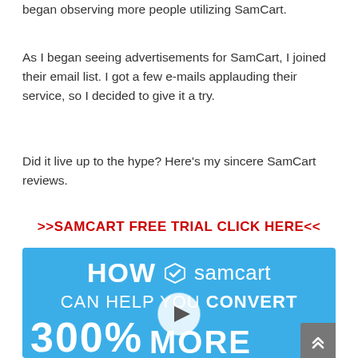began observing more people utilizing SamCart.
As I began seeing advertisements for SamCart, I joined their email list. I got a few e-mails applauding their service, so I decided to give it a try.
Did it live up to the hype? Here's my sincere SamCart reviews.
>>SAMCART FREE TRIAL CLICK HERE<<
[Figure (screenshot): SamCart promotional banner image with blue background showing 'HOW samcart CAN HELP YOU CONVERT 300% MORE' with a play button in the center]